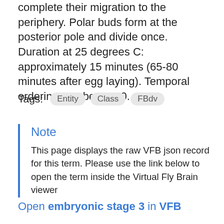complete their migration to the periphery. Polar buds form at the posterior pole and divide once. Duration at 25 degrees C: approximately 15 minutes (65-80 minutes after egg laying). Temporal ordering number - 140.
Tags: Entity  Class  FBdv
Note
This page displays the raw VFB json record for this term. Please use the link below to open the term inside the Virtual Fly Brain viewer
Open embryonic stage 3 in VFB